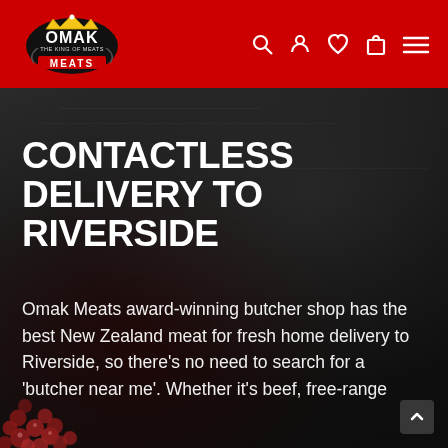[Figure (logo): Omak Meats logo - The King of Meats, crown and shield emblem in red, black and gold]
[Figure (screenshot): Navigation icons: search, account, wishlist/heart, shopping bag, hamburger menu - white icons on red background]
[Figure (photo): Dark textured background — stone or black slate surface with red berries/spices in bottom-left corner]
CONTACTLESS DELIVERY TO RIVERSIDE
Omak Meats award-winning butcher shop has the best New Zealand meat for fresh home delivery to Riverside, so there's no need to search for a 'butcher near me'. Whether it's beef, free-range